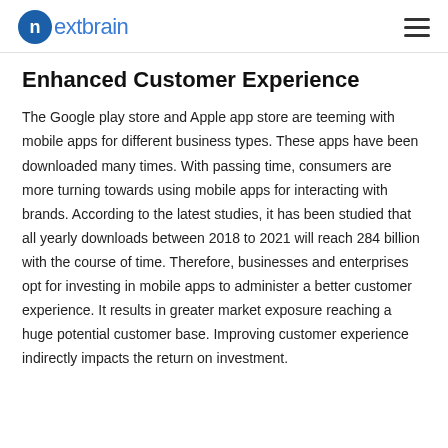nextbrain
Enhanced Customer Experience
The Google play store and Apple app store are teeming with mobile apps for different business types. These apps have been downloaded many times. With passing time, consumers are more turning towards using mobile apps for interacting with brands. According to the latest studies, it has been studied that all yearly downloads between 2018 to 2021 will reach 284 billion with the course of time. Therefore, businesses and enterprises opt for investing in mobile apps to administer a better customer experience. It results in greater market exposure reaching a huge potential customer base. Improving customer experience indirectly impacts the return on investment.